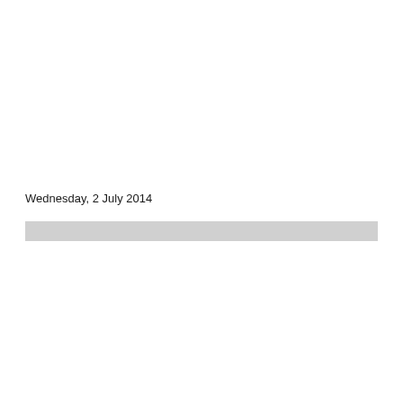Wednesday, 2 July 2014
[Figure (other): A horizontal gray bar/divider element spanning most of the page width]